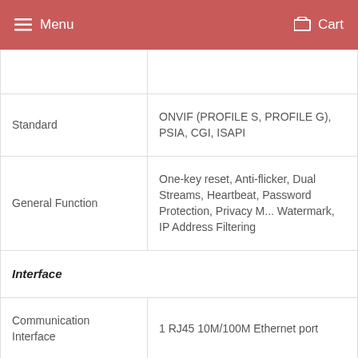Menu   Cart
|  |  |
| Standard | ONVIF (PROFILE S, PROFILE G), PSIA, CGI, ISAPI |
| General Function | One-key reset, Anti-flicker, Dual Streams, Heartbeat, Password Protection, Privacy M... Watermark, IP Address Filtering |
| Interface |  |
| Communication Interface | 1 RJ45 10M/100M Ethernet port |
|  |  |